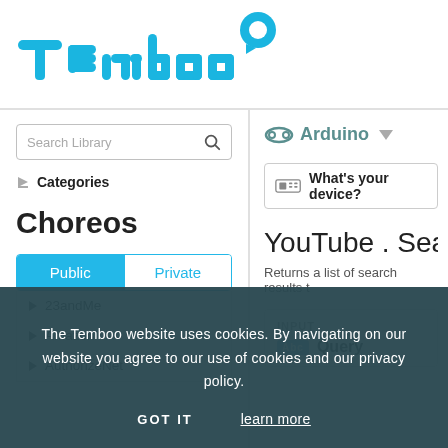[Figure (logo): Temboo logo in cyan/teal with speech bubble icon]
Search Library
Categories
Choreos
Public | Private
23andMe
Amazon
AuthorizeNet
[Figure (screenshot): Arduino selector with infinite loop icon and dropdown arrow]
[Figure (screenshot): What's your device? button with device icon]
YouTube . Search .
Returns a list of search results t
INPUT
Query
The Temboo website uses cookies. By navigating on our website you agree to our use of cookies and our privacy policy.
GOT IT
learn more